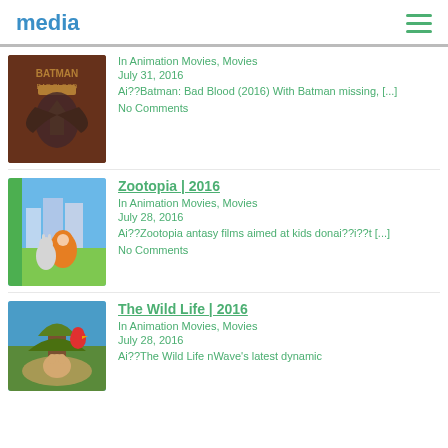media
In Animation Movies, Movies
July 31, 2016
Ai??Batman: Bad Blood (2016) With Batman missing, [...]
No Comments
Zootopia | 2016
In Animation Movies, Movies
July 28, 2016
Ai??Zootopia antasy films aimed at kids donai??i??t [...]
No Comments
The Wild Life | 2016
In Animation Movies, Movies
July 28, 2016
Ai??The Wild Life nWave's latest dynamic